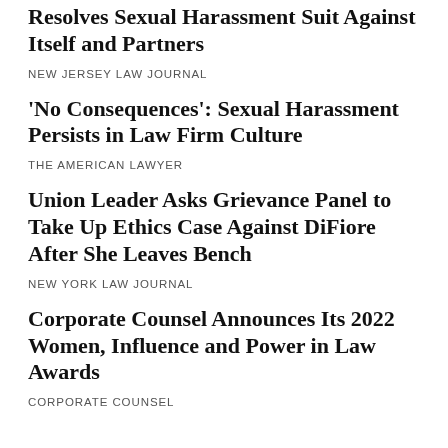Resolves Sexual Harassment Suit Against Itself and Partners
NEW JERSEY LAW JOURNAL
'No Consequences': Sexual Harassment Persists in Law Firm Culture
THE AMERICAN LAWYER
Union Leader Asks Grievance Panel to Take Up Ethics Case Against DiFiore After She Leaves Bench
NEW YORK LAW JOURNAL
Corporate Counsel Announces Its 2022 Women, Influence and Power in Law Awards
CORPORATE COUNSEL